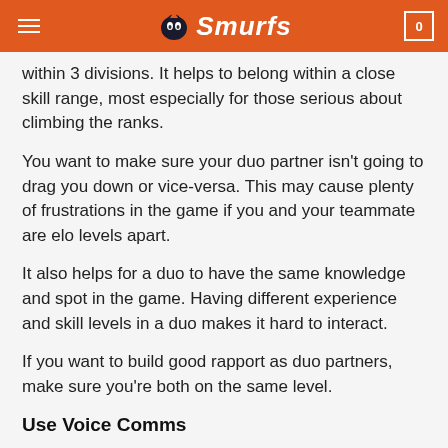Smurfs
within 3 divisions. It helps to belong within a close skill range, most especially for those serious about climbing the ranks.
You want to make sure your duo partner isn't going to drag you down or vice-versa. This may cause plenty of frustrations in the game if you and your teammate are elo levels apart.
It also helps for a duo to have the same knowledge and spot in the game. Having different experience and skill levels in a duo makes it hard to interact.
If you want to build good rapport as duo partners, make sure you're both on the same level.
Use Voice Comms
Some people opt against this since it can be difficult to talk while concentrating on the game, a little, but they do have a